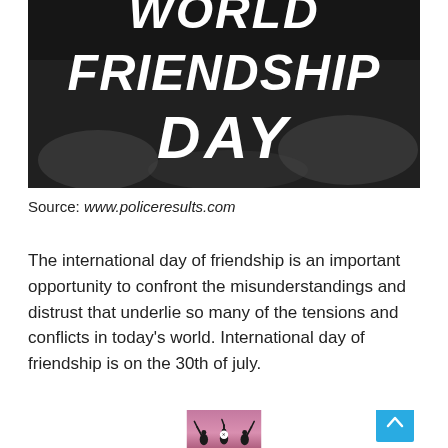[Figure (photo): Black and white photo background with bold italic white text reading 'WORLD FRIENDSHIP DAY']
Source: www.policeresults.com
The international day of friendship is an important opportunity to confront the misunderstandings and distrust that underlie so many of the tensions and conflicts in today's world. International day of friendship is on the 30th of july.
[Figure (photo): Photo of silhouettes of people raising hands against a pink/purple sunset sky, with a close button overlay]